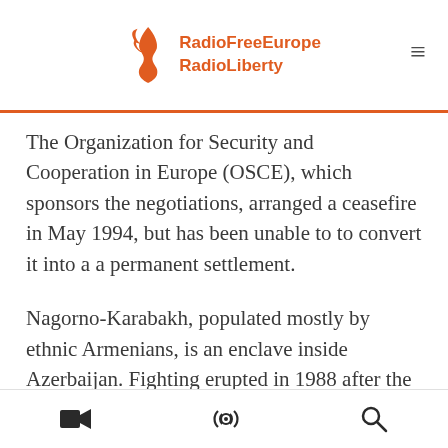RadioFreeEurope RadioLiberty
The Organization for Security and Cooperation in Europe (OSCE), which sponsors the negotiations, arranged a ceasefire in May 1994, but has been unable to to convert it into a a permanent settlement.
Nagorno-Karabakh, populated mostly by ethnic Armenians, is an enclave inside Azerbaijan. Fighting erupted in 1988 after the ethnic Armenians declared sovereignty.
The OSCE Summit in Lisbon in December attempted